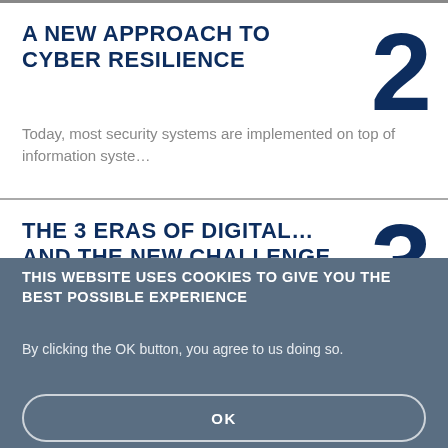A NEW APPROACH TO CYBER RESILIENCE
Today, most security systems are implemented on top of information syste…
THE 3 ERAS OF DIGITAL… AND THE NEW CHALLENGE
THIS WEBSITE USES COOKIES TO GIVE YOU THE BEST POSSIBLE EXPERIENCE
By clicking the OK button, you agree to us doing so.
OK